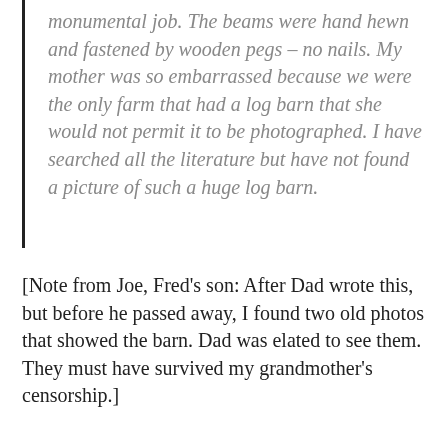monumental job. The beams were hand hewn and fastened by wooden pegs – no nails. My mother was so embarrassed because we were the only farm that had a log barn that she would not permit it to be photographed. I have searched all the literature but have not found a picture of such a huge log barn.
[Note from Joe, Fred's son: After Dad wrote this, but before he passed away, I found two old photos that showed the barn. Dad was elated to see them. They must have survived my grandmother's censorship.]